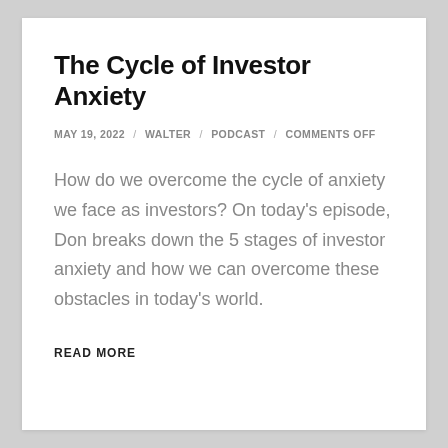The Cycle of Investor Anxiety
MAY 19, 2022 / WALTER / PODCAST / COMMENTS OFF
How do we overcome the cycle of anxiety we face as investors? On today's episode, Don breaks down the 5 stages of investor anxiety and how we can overcome these obstacles in today's world.
READ MORE